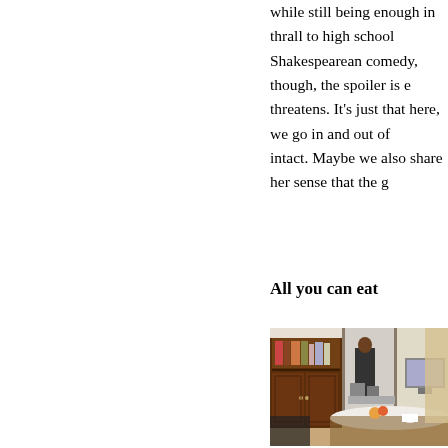while still being enough in thrall to high school Shakespearean comedy, though, the spoiler is e threatens. It's just that here, we go in and out of intact. Maybe we also share her sense that the g
All you can eat
[Figure (photo): Interior scene showing a wooden cabinet/bookshelf with books, a dining table with white lace tablecloth, and a person visible in the background working in a kitchen. A computer monitor is visible on the right side.]
[Figure (photo): Interior scene with large windows, a person seated with back to camera, and outdoor greenery visible through the windows.]